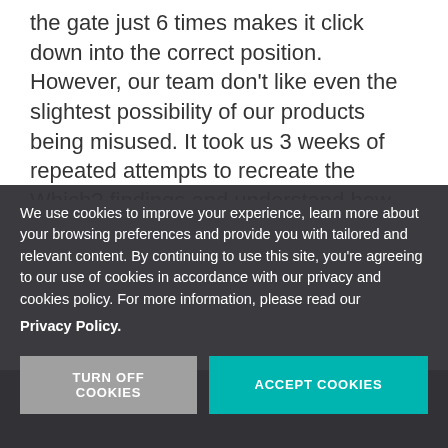the gate just 6 times makes it click down into the correct position. However, our team don't like even the slightest possibility of our products being misused. It took us 3 weeks of repeated attempts to recreate the Which? findings and understand how the gate must have been assembled (only achieved by not following the instructions). We are proud to say that it then
We use cookies to improve your experience, learn more about your browsing preferences and provide you with tailored and relevant content. By continuing to use this site, you're agreeing to our use of cookies in accordance with our privacy and cookies policy. For more information, please read our
Privacy Policy.